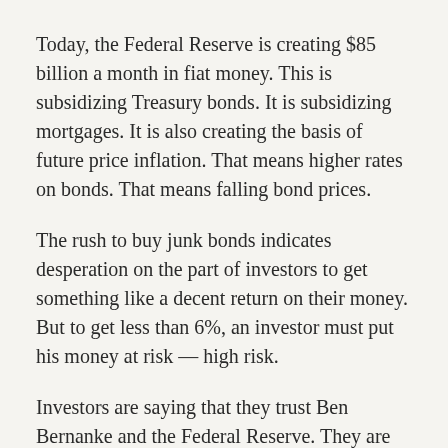Today, the Federal Reserve is creating $85 billion a month in fiat money. This is subsidizing Treasury bonds. It is subsidizing mortgages. It is also creating the basis of future price inflation. That means higher rates on bonds. That means falling bond prices.
The rush to buy junk bonds indicates desperation on the part of investors to get something like a decent return on their money. But to get less than 6%, an investor must put his money at risk — high risk.
Investors are saying that they trust Ben Bernanke and the Federal Reserve. They are saying that the FED can create $1 trillion in fiat money from now on, and prices will not rise. Long-term rates will not rise. The economy will recover.
They are saying that digits are real wealth, when